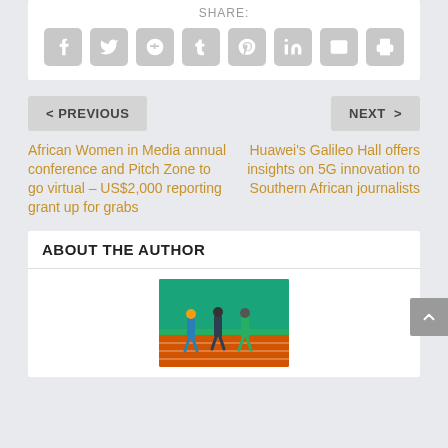SHARE:
[Figure (other): Social media share buttons: Facebook, Twitter, Google+, Tumblr, Pinterest, LinkedIn, Email, Print]
< PREVIOUS
NEXT >
African Women in Media annual conference and Pitch Zone to go virtual – US$2,000 reporting grant up for grabs
Huawei's Galileo Hall offers insights on 5G innovation to Southern African journalists
ABOUT THE AUTHOR
[Figure (photo): Athletes running on a track, wearing green and blue jerseys]